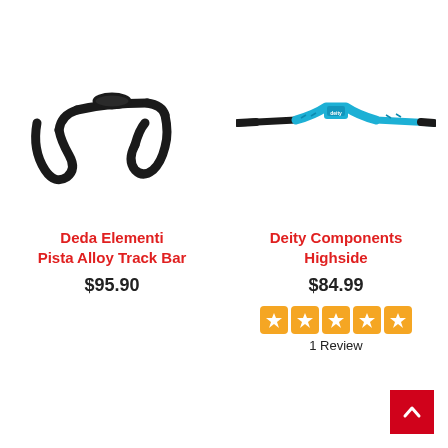[Figure (photo): Black drop handlebar - Deda Elementi Pista Alloy Track Bar]
[Figure (photo): Blue and black flat mountain bike handlebar - Deity Components Highside]
Deda Elementi
Pista Alloy Track Bar
$95.90
Deity Components
Highside
$84.99
[Figure (other): 5-star rating in orange squares]
1 Review